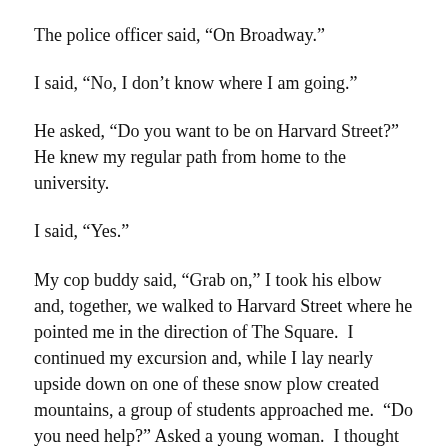The police officer said, “On Broadway.”
I said, “No, I don’t know where I am going.”
He asked, “Do you want to be on Harvard Street?”  He knew my regular path from home to the university.
I said, “Yes.”
My cop buddy said, “Grab on,” I took his elbow and, together, we walked to Harvard Street where he pointed me in the direction of The Square.  I continued my excursion and, while I lay nearly upside down on one of these snow plow created mountains, a group of students approached me.  “Do you need help?” Asked a young woman.  I thought about my condition for a while, “Ok, I’m a blind man, I’m laying face down, nearly upside down on a